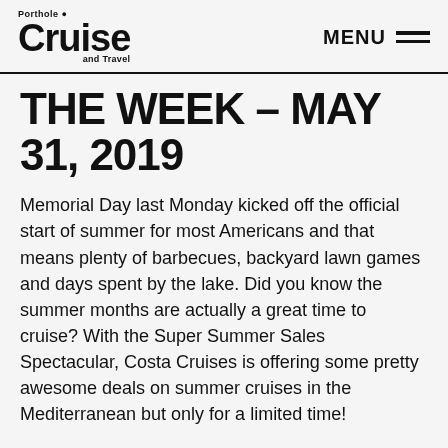Porthole Cruise and Travel — MENU
THE WEEK – MAY 31, 2019
Memorial Day last Monday kicked off the official start of summer for most Americans and that means plenty of barbecues, backyard lawn games and days spent by the lake. Did you know the summer months are actually a great time to cruise? With the Super Summer Sales Spectacular, Costa Cruises is offering some pretty awesome deals on summer cruises in the Mediterranean but only for a limited time!